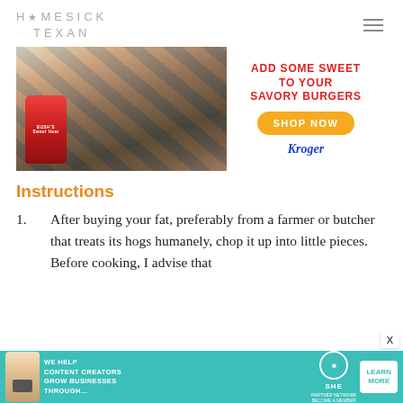HOMESICK TEXAN
[Figure (photo): Advertisement for Bush's Baked Beans at Kroger. Left side shows a food photo with a can of Bush's Sweet Heat beans, a baking dish with beans, and colorful vegetables on a striped cloth background. Right side shows red bold text 'ADD SOME SWEET TO YOUR SAVORY BURGERS', an orange 'SHOP NOW' button, and the Kroger logo in blue.]
Instructions
After buying your fat, preferably from a farmer or butcher that treats its hogs humanely, chop it up into little pieces. Before cooking, I advise that
[Figure (infographic): Bottom advertisement banner with teal/green background. Shows a person with laptop on left, bold white text 'WE HELP CONTENT CREATORS GROW BUSINESSES THROUGH...', SHE partner network logo and badge in center, and 'LEARN MORE' white button on right.]